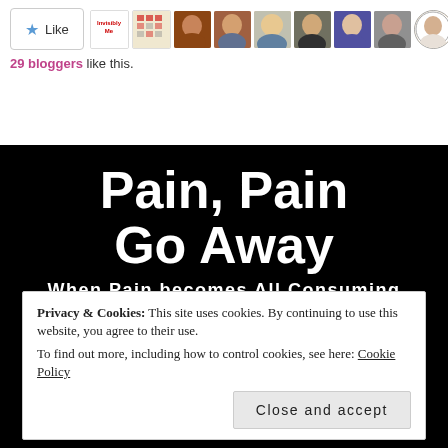[Figure (screenshot): Like button with star icon and row of blogger avatar thumbnails]
29 bloggers like this.
Pain, Pain Go Away
When Pain becomes All Consuming
Privacy & Cookies: This site uses cookies. By continuing to use this website, you agree to their use.
To find out more, including how to control cookies, see here: Cookie Policy
Close and accept